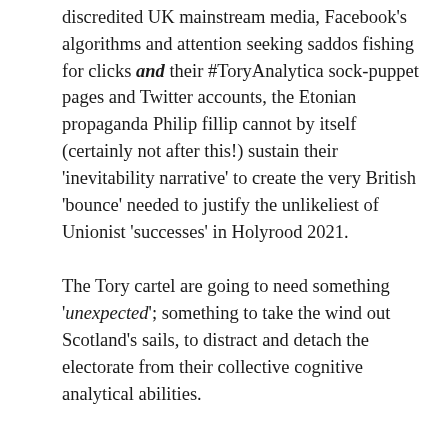discredited UK mainstream media, Facebook's algorithms and attention seeking saddos fishing for clicks and their #ToryAnalytica sock-puppet pages and Twitter accounts, the Etonian propaganda Philip fillip cannot by itself (certainly not after this!) sustain their 'inevitability narrative' to create the very British 'bounce' needed to justify the unlikeliest of Unionist 'successes' in Holyrood 2021.
The Tory cartel are going to need something 'unexpected'; something to take the wind out Scotland's sails, to distract and detach the electorate from their collective cognitive analytical abilities.